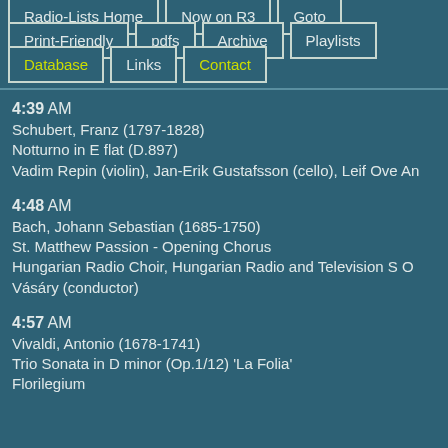Radio-Lists Home
Now on R3
Goto
Print-Friendly
pdfs
Archive
Playlists
Database
Links
Contact
4:39 AM
Schubert, Franz (1797-1828)
Notturno in E flat (D.897)
Vadim Repin (violin), Jan-Erik Gustafsson (cello), Leif Ove An
4:48 AM
Bach, Johann Sebastian (1685-1750)
St. Matthew Passion - Opening Chorus
Hungarian Radio Choir, Hungarian Radio and Television S O
Vásáry (conductor)
4:57 AM
Vivaldi, Antonio (1678-1741)
Trio Sonata in D minor (Op.1/12) 'La Folia'
Florilegium